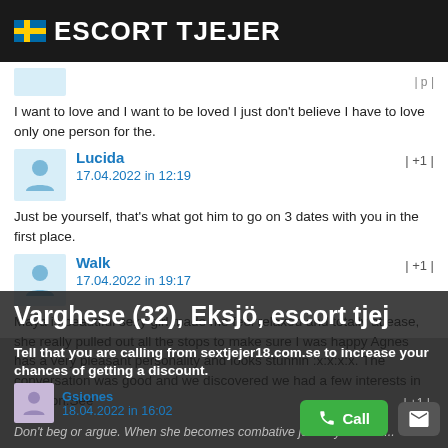ESCORT TJEJER
I want to love and I want to be loved I just don't believe I have to love only one person for the.
Lucida
17.04.2022 in 12:19 | +1 |
Just be yourself, that's what got him to go on 3 dates with you in the first place.
Walk
17.04.2022 in 19:17 | +1 |
Maya is beautiful sexy girl made me feel relaxed and totally at ease, she really pulled out all the stops to make sure I was happy Agnes has a very pleasant personality and looks stunnin :x:x:x:x. The conversation was good and we discovered we had a few interests in common.See
Varghese (32), Eksjö, escort tjej
Tell that you are calling from sextjejer18.com.se to increase your chances of getting a discount.
Gsiones
18.04.2022 in 16:02 | +1 |
Don't beg or argue. When she becomes combative just say "I know..."